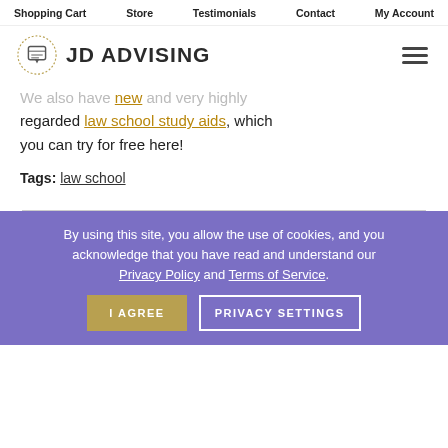Shopping Cart | Store | Testimonials | Contact | My Account
[Figure (logo): JD Advising logo with diploma icon and text JD ADVISING]
We also have new and very highly regarded law school study aids, which you can try for free here!
Tags: law school
By using this site, you allow the use of cookies, and you acknowledge that you have read and understand our Privacy Policy and Terms of Service. [I AGREE] [PRIVACY SETTINGS]